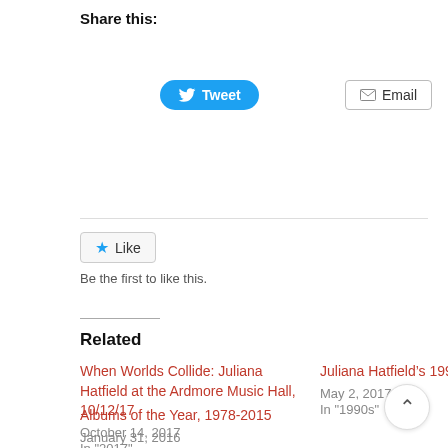Share this:
[Figure (other): Tweet button (Twitter/X blue pill button with bird icon and text 'Tweet') and Email button (outlined rectangle with envelope icon and text 'Email')]
[Figure (other): Like button with star icon and text 'Like', followed by text 'Be the first to like this.']
Related
When Worlds Collide: Juliana Hatfield at the Ardmore Music Hall, 10/12/17
October 14, 2017
In "2017"
Juliana Hatfield’s 1993
May 2, 2017
In "1990s"
Albums of the Year, 1978-2015
January 31, 2016
In "1970s"